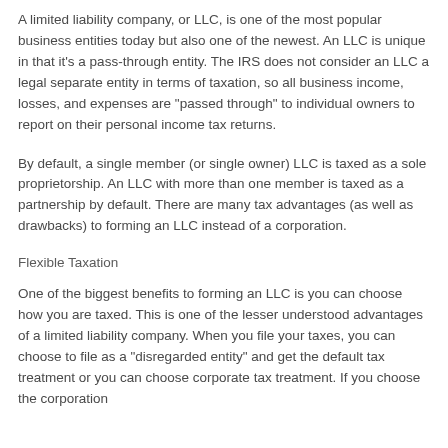A limited liability company, or LLC, is one of the most popular business entities today but also one of the newest. An LLC is unique in that it's a pass-through entity. The IRS does not consider an LLC a legal separate entity in terms of taxation, so all business income, losses, and expenses are "passed through" to individual owners to report on their personal income tax returns.
By default, a single member (or single owner) LLC is taxed as a sole proprietorship. An LLC with more than one member is taxed as a partnership by default. There are many tax advantages (as well as drawbacks) to forming an LLC instead of a corporation.
Flexible Taxation
One of the biggest benefits to forming an LLC is you can choose how you are taxed. This is one of the lesser understood advantages of a limited liability company. When you file your taxes, you can choose to file as a "disregarded entity" and get the default tax treatment or you can choose corporate tax treatment. If you choose the corporation